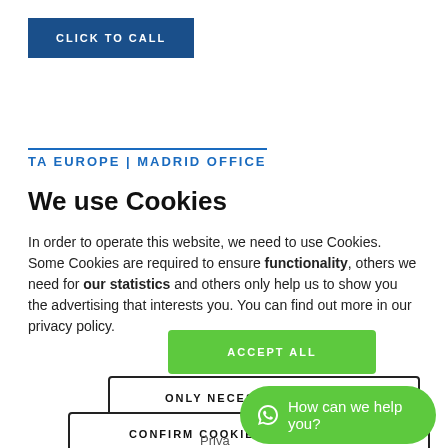CLICK TO CALL
TA EUROPE | MADRID OFFICE
We use Cookies
In order to operate this website, we need to use Cookies. Some Cookies are required to ensure functionality, others we need for our statistics and others only help us to show you the advertising that interests you. You can find out more in our privacy policy.
ACCEPT ALL
ONLY NECESSARY COOKIES
CONFIRM COOKIES INDIVIDUALLY
Priva
How can we help you?